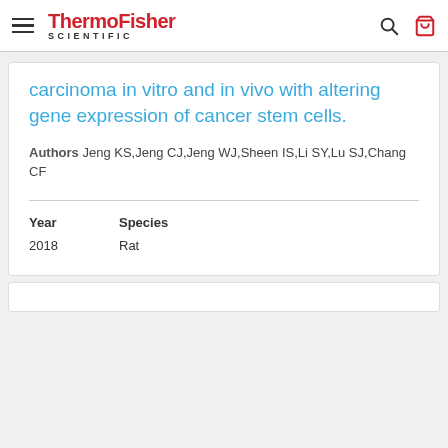ThermoFisher SCIENTIFIC
carcinoma in vitro and in vivo with altering gene expression of cancer stem cells.
Authors Jeng KS,Jeng CJ,Jeng WJ,Sheen IS,Li SY,Lu SJ,Chang CF
| Year | Species |
| --- | --- |
| 2018 | Rat |